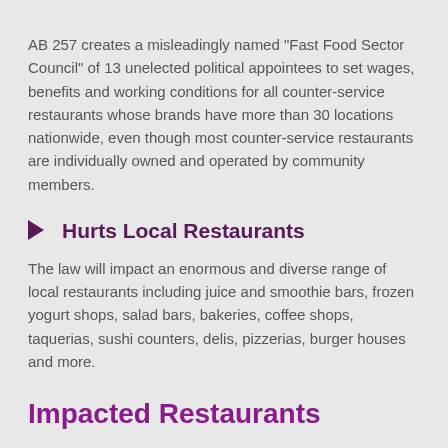AB 257 creates a misleadingly named “Fast Food Sector Council” of 13 unelected political appointees to set wages, benefits and working conditions for all counter-service restaurants whose brands have more than 30 locations nationwide, even though most counter-service restaurants are individually owned and operated by community members.
Hurts Local Restaurants
The law will impact an enormous and diverse range of local restaurants including juice and smoothie bars, frozen yogurt shops, salad bars, bakeries, coffee shops, taquerias, sushi counters, delis, pizzerias, burger houses and more.
Impacted Restaurants